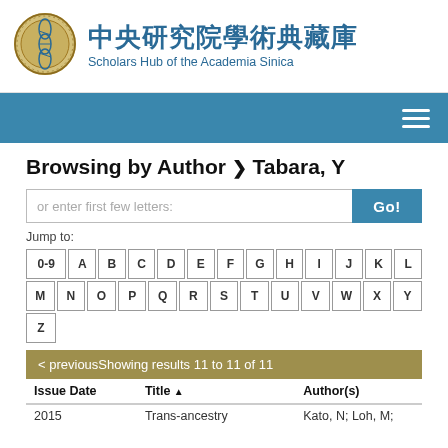[Figure (logo): Academia Sinica circular logo with DNA helix motif]
中央研究院學術典藏庫 Scholars Hub of the Academia Sinica
Browsing by Author > Tabara, Y
or enter first few letters:
Jump to:
0-9 A B C D E F G H I J K L M N O P Q R S T U V W X Y Z
| Issue Date | Title | Author(s) |
| --- | --- | --- |
| 2015 | Trans-ancestry | Kato, N; Loh, M; |